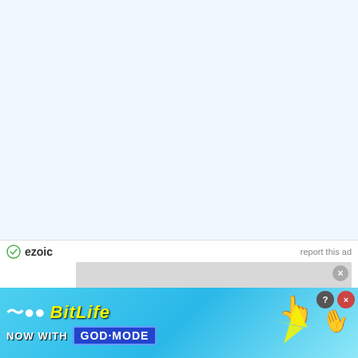[Figure (screenshot): Light blue empty content area at top of webpage]
ezoic   report this ad
[Figure (screenshot): Video player overlay showing 'No compatible source was found for this media.' message with close button]
@ 2022 Tech Asli
[Figure (infographic): BitLife advertisement banner: 'BitLife NOW WITH GOD MODE' on a sky blue background with cartoon hands pointing and lightning bolt graphics]